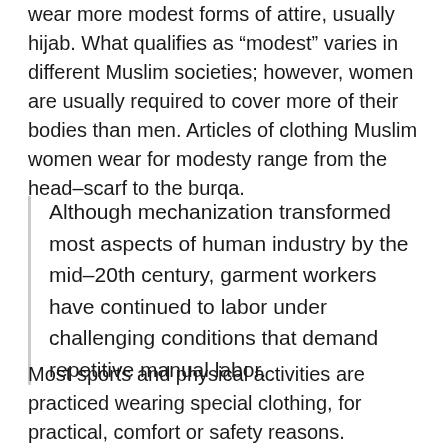wear more modest forms of attire, usually hijab. What qualifies as “modest” varies in different Muslim societies; however, women are usually required to cover more of their bodies than men. Articles of clothing Muslim women wear for modesty range from the headscarf to the burqa.
Although mechanization transformed most aspects of human industry by the mid-20th century, garment workers have continued to labor under challenging conditions that demand repetitive manual labor.
Most sports and physical activities are practiced wearing special clothing, for practical, comfort or safety reasons. Common sportswear garments include shorts, T-shirts,